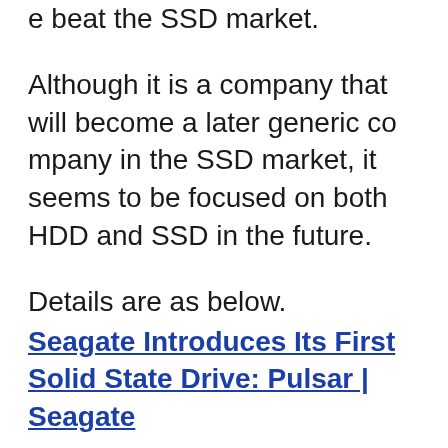e beat the SSD market.
Although it is a company that will become a later generic company in the SSD market, it seems to be focused on both HDD and SSD in the future.
Details are as below.
Seagate Introduces Its First Solid State Drive: Pulsar | Seagate
According to Seagate's announcement, it is said that on December 7th of the local time the company released its first SSD "Pulsar".
"Pulsar" is a model adopting SLC (single level cell) type flash memory that realizes high-speed access and long product life, the maximum capacity is 200 GB. Continuous reading speed is 240MB per second and continuous writing spee